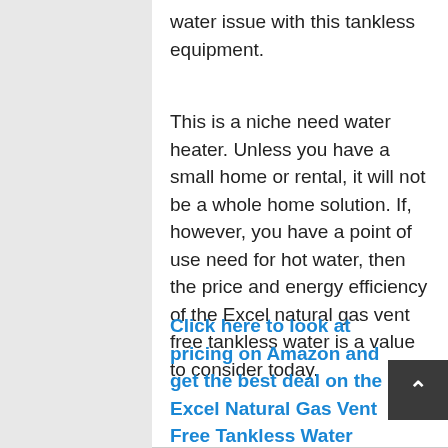water issue with this tankless equipment.
This is a niche need water heater. Unless you have a small home or rental, it will not be a whole home solution. If, however, you have a point of use need for hot water, then the price and energy efficiency of the Excel natural gas vent free tankless water is a value to consider today.
Click here to look at pricing on Amazon and get the best deal on the Excel Natural Gas Vent Free Tankless Water Heater.